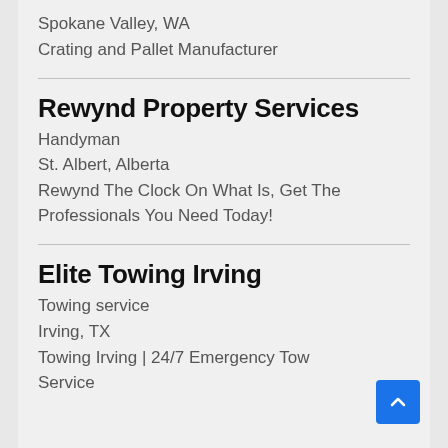Spokane Valley, WA
Crating and Pallet Manufacturer
Rewynd Property Services
Handyman
St. Albert, Alberta
Rewynd The Clock On What Is, Get The Professionals You Need Today!
Elite Towing Irving
Towing service
Irving, TX
Towing Irving | 24/7 Emergency Tow Service